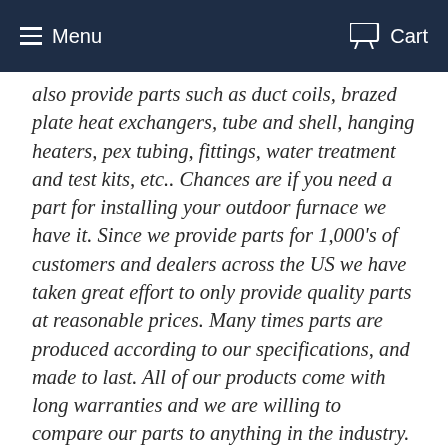Menu   Cart
also provide parts such as duct coils, brazed plate heat exchangers, tube and shell, hanging heaters, pex tubing, fittings, water treatment and test kits, etc.. Chances are if you need a part for installing your outdoor furnace we have it. Since we provide parts for 1,000's of customers and dealers across the US we have taken great effort to only provide quality parts at reasonable prices. Many times parts are produced according to our specifications, and made to last. All of our products come with long warranties and we are willing to compare our parts to anything in the industry.
We firmly believe in customer service. All orders ship within 24 hours of being place. When at all possible we include shipping in our prices. We